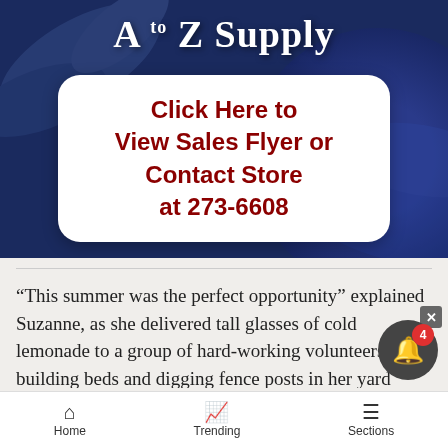[Figure (infographic): A to Z Supply advertisement banner with dark navy blue background. Large white bold text reads 'A to Z Supply' at the top. A white rounded rectangle box in the center contains bold dark red text: 'Click Here to View Sales Flyer or Contact Store at 273-6608'.]
“This summer was the perfect opportunity” explained Suzanne, as she delivered tall glasses of cold lemonade to a group of hard-working volunteers building beds and digging fence posts in her yard
Home   Trending   Sections